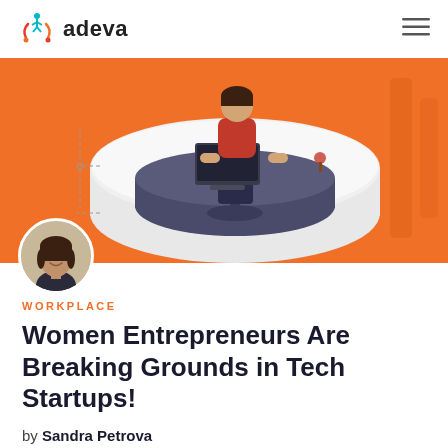adeva
[Figure (illustration): Orange background hero illustration showing a woman in red top sitting at a futuristic curved white desk with a laptop, working; the desk pod is open at the front revealing a dark interior with office chair.]
[Figure (photo): Circular avatar photo of Sandra Petrova, a woman with dark hair, smiling.]
WORKPLACE
Women Entrepreneurs Are Breaking Grounds in Tech Startups!
by Sandra Petrova
The current situation of women entrepreneurs in tech startups is changing fast. Women have come a long way to stat...